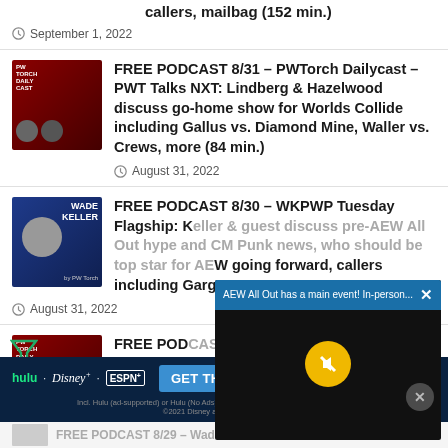callers, mailbag (152 min.)
September 1, 2022
[Figure (photo): PWTorch Daily Cast podcast thumbnail]
FREE PODCAST 8/31 – PWTorch Dailycast – PWT Talks NXT: Lindberg & Hazelwood discuss go-home show for Worlds Collide including Gallus vs. Diamond Mine, Waller vs. Crews, more (84 min.)
August 31, 2022
[Figure (photo): Wade Keller podcast thumbnail]
FREE PODCAST 8/30 – WKPWP Tuesday Flagship: Keller & guest host discuss pre-AEW All Out hype and CM Punk backstage news, who should be top star for AEW going forward, callers including Gargano, R...
August 31, 2022
[Figure (photo): PWTorch Daily Cast podcast thumbnail (partial)]
FREE PODCAST – Elite After...
Punk and ...
[Figure (screenshot): Video overlay: AEW All Out has a main event! In-person... with mute button and close button]
[Figure (infographic): Disney Bundle advertisement banner: hulu, Disney+, ESPN+, GET THE DISNEY BUNDLE. Incl. Hulu (ad-supported) or Hulu (No Ads). Access content from each service separately. ©2021 Disney and its related entities]
FREE PODCAST 8/29 – Wade Keller Pro